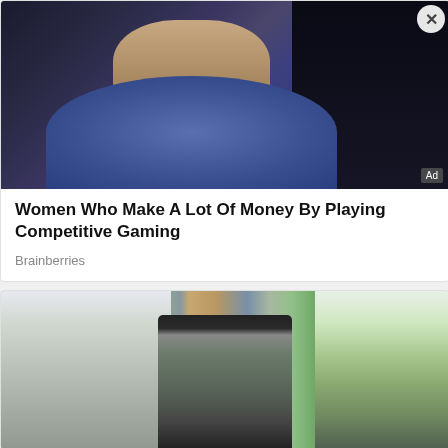[Figure (photo): Close-up photo of a woman in a blue shirt, dark background, competitive gaming context. Ad badge visible in bottom right corner.]
Women Who Make A Lot Of Money By Playing Competitive Gaming
Brainberries
[Figure (photo): Woman wearing a face mask working on a laptop in a bright indoor space with plants and modern interior design.]